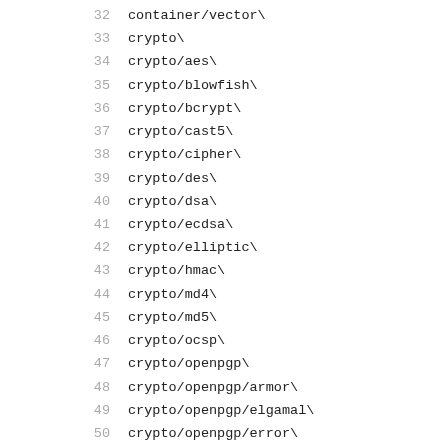32  container/vector\
33  crypto\
34  crypto/aes\
35  crypto/blowfish\
36  crypto/bcrypt\
37  crypto/cast5\
38  crypto/cipher\
39  crypto/des\
40  crypto/dsa\
41  crypto/ecdsa\
42  crypto/elliptic\
43  crypto/hmac\
44  crypto/md4\
45  crypto/md5\
46  crypto/ocsp\
47  crypto/openpgp\
48  crypto/openpgp/armor\
49  crypto/openpgp/elgamal\
50  crypto/openpgp/error\
51  crypto/openpgp/packet\
52  crypto/openpgp/s2k\